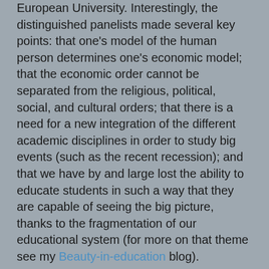European University. Interestingly, the distinguished panelists made several key points: that one's model of the human person determines one's economic model; that the economic order cannot be separated from the religious, political, social, and cultural orders; that there is a need for a new integration of the different academic disciplines in order to study big events (such as the recent recession); and that we have by and large lost the ability to educate students in such a way that they are capable of seeing the big picture, thanks to the fragmentation of our educational system (for more on that theme see my Beauty-in-education blog).
The point of the lecture in Oxford was to see what lessons could be drawn from the recent global financial crisis. For Soros, the lessons were stark. International, deregulated capitalism is over. It does not work. When governments were forced to put the market on to artificial life support, it became clear that markets by themselves do not tend towards equilibrium. The alternative, he concluded, is state capitalism of the kind we see in China (and much less successfully in Russia, he added), where the market is explicitly regulated by the state.